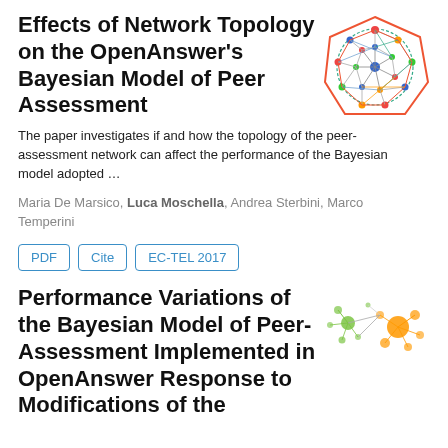Effects of Network Topology on the OpenAnswer's Bayesian Model of Peer Assessment
[Figure (illustration): Colorful network graph illustration with nodes and edges in multiple colors (red, blue, green, orange)]
The paper investigates if and how the topology of the peer-assessment network can affect the performance of the Bayesian model adopted …
Maria De Marsico, Luca Moschella, Andrea Sterbini, Marco Temperini
PDF
Cite
EC-TEL 2017
Performance Variations of the Bayesian Model of Peer-Assessment Implemented in OpenAnswer Response to Modifications of the
[Figure (illustration): Colorful network scatter illustration with orange, green, and small circular nodes connected by thin lines]